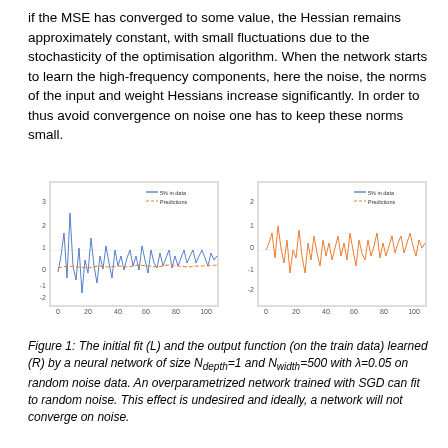if the MSE has converged to some value, the Hessian remains approximately constant, with small fluctuations due to the stochasticity of the optimisation algorithm. When the network starts to learn the high-frequency components, here the noise, the norms of the input and weight Hessians increase significantly. In order to thus avoid convergence on noise one has to keep these norms small.
[Figure (line-chart): Left chart: noisy blue line (5% data) and orange prediction line, x-axis 0-100, y-axis roughly -3 to 3. Shows initial fit.]
[Figure (line-chart): Right chart: orange line (predictions) closely following noisy data, x-axis 0-100, y-axis roughly -2.5 to 2. Shows output function learned by network.]
Figure 1: The initial fit (L) and the output function (on the train data) learned (R) by a neural network of size N_depth=1 and N_width=500 with λ=0.05 on random noise data. An overparametrized network trained with SGD can fit to random noise. This effect is undesired and ideally, a network will not converge on noise.